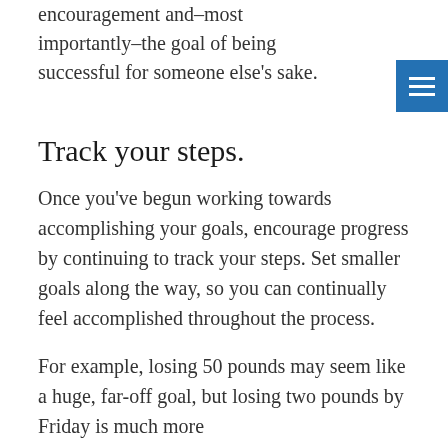encouragement and–most importantly–the goal of being successful for someone else's sake.
Track your steps.
Once you've begun working towards accomplishing your goals, encourage progress by continuing to track your steps. Set smaller goals along the way, so you can continually feel accomplished throughout the process.
For example, losing 50 pounds may seem like a huge, far-off goal, but losing two pounds by Friday is much more manageable. Track your steps and